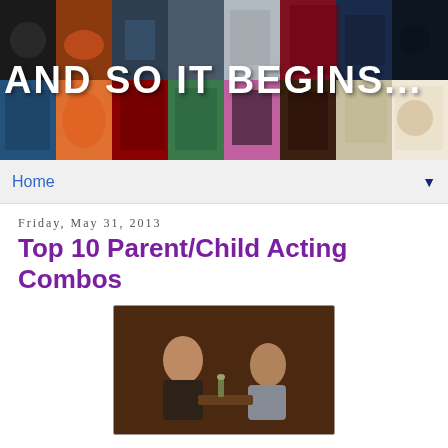[Figure (photo): Blog banner header showing a mosaic of movie/film stills with overlaid white bold text reading AND SO IT BEGINS...]
Home
Friday, May 31, 2013
Top 10 Parent/Child Acting Combos
[Figure (photo): Two men sitting across from each other at a restaurant table, in a warm-lit indoor setting]
In the wake of Will Smith starring alongside his son, Jaden, in the new flick After Earth, I got to thinking: what are the